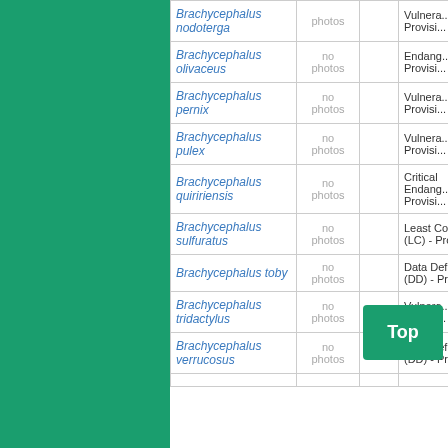| Species | Photos |  | Status |
| --- | --- | --- | --- |
| Brachycephalus nodoterga | photos |  | Vulnerable (VU) - Provisi... |
| Brachycephalus olivaceus | no photos |  | Endangered (EN) - Provisi... |
| Brachycephalus pernix | no photos |  | Vulnerable (VU) - Provisi... |
| Brachycephalus pulex | no photos |  | Vulnerable (VU) - Provisi... |
| Brachycephalus quiririensis | no photos |  | Critically Endangered (CR) - Provisi... |
| Brachycephalus sulfuratus | no photos |  | Least Concern (LC) - Provisi... |
| Brachycephalus toby | no photos |  | Data Deficient (DD) - Provisi... |
| Brachycephalus tridactylus | no photos |  | Vulnerable (VU) - Provisi... |
| Brachycephalus verrucosus | no photos |  | Data Deficient (DD) - Provisi... |